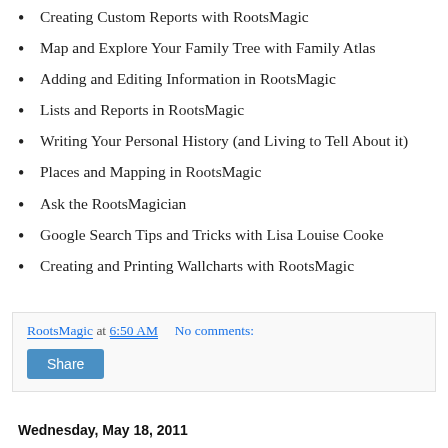Creating Custom Reports with RootsMagic
Map and Explore Your Family Tree with Family Atlas
Adding and Editing Information in RootsMagic
Lists and Reports in RootsMagic
Writing Your Personal History (and Living to Tell About it)
Places and Mapping in RootsMagic
Ask the RootsMagician
Google Search Tips and Tricks with Lisa Louise Cooke
Creating and Printing Wallcharts with RootsMagic
RootsMagic at 6:50 AM    No comments:
Share
Wednesday, May 18, 2011